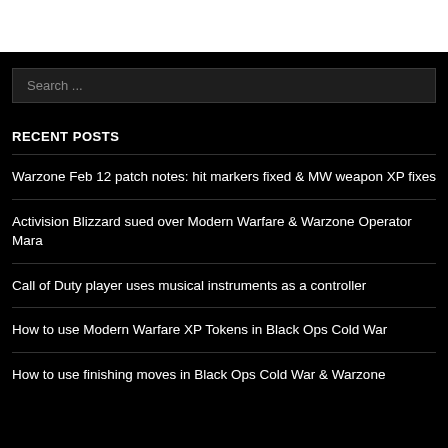[Figure (screenshot): White header area at top of page]
Search ...
RECENT POSTS
Warzone Feb 12 patch notes: hit markers fixed & MW weapon XP fixes
Activision Blizzard sued over Modern Warfare & Warzone Operator Mara
Call of Duty player uses musical instruments as a controller
How to use Modern Warfare XP Tokens in Black Ops Cold War
How to use finishing moves in Black Ops Cold War & Warzone